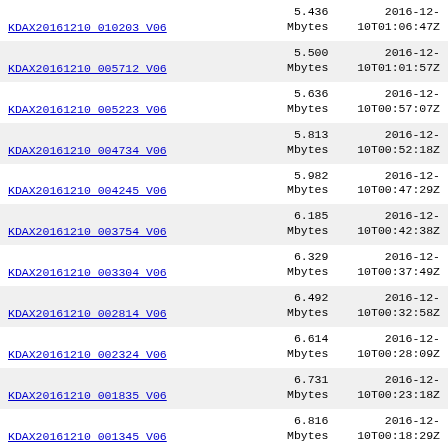| Name | Size | Date |
| --- | --- | --- |
| KDAX20161210 010203 V06 | 5.436 Mbytes | 2016-12-10T01:06:47Z |
| KDAX20161210 005712 V06 | 5.500 Mbytes | 2016-12-10T01:01:57Z |
| KDAX20161210 005223 V06 | 5.636 Mbytes | 2016-12-10T00:57:07Z |
| KDAX20161210 004734 V06 | 5.813 Mbytes | 2016-12-10T00:52:18Z |
| KDAX20161210 004245 V06 | 5.982 Mbytes | 2016-12-10T00:47:29Z |
| KDAX20161210 003754 V06 | 6.185 Mbytes | 2016-12-10T00:42:38Z |
| KDAX20161210 003304 V06 | 6.329 Mbytes | 2016-12-10T00:37:49Z |
| KDAX20161210 002814 V06 | 6.492 Mbytes | 2016-12-10T00:32:58Z |
| KDAX20161210 002324 V06 | 6.614 Mbytes | 2016-12-10T00:28:09Z |
| KDAX20161210 001835 V06 | 6.731 Mbytes | 2016-12-10T00:23:18Z |
| KDAX20161210 001345 V06 | 6.816 Mbytes | 2016-12-10T00:18:29Z |
| KDAX20161210 ... | 6.948 Mbytes | 2016-12-... |